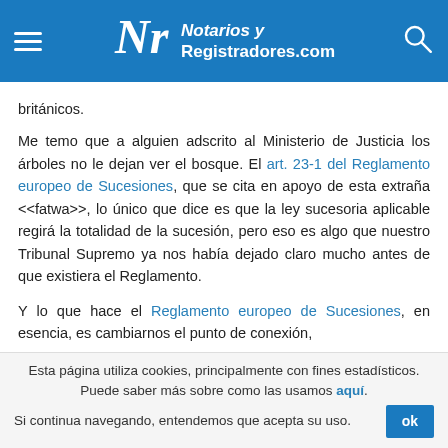Notarios y Registradores.com
británicos.
Me temo que a alguien adscrito al Ministerio de Justicia los árboles no le dejan ver el bosque. El art. 23-1 del Reglamento europeo de Sucesiones, que se cita en apoyo de esta extraña <<fatwa>>, lo único que dice es que la ley sucesoria aplicable regirá la totalidad de la sucesión, pero eso es algo que nuestro Tribunal Supremo ya nos había dejado claro mucho antes de que existiera el Reglamento.
Y lo que hace el Reglamento europeo de Sucesiones, en esencia, es cambiarnos el punto de conexión,
Esta página utiliza cookies, principalmente con fines estadísticos. Puede saber más sobre como las usamos aquí. Si continua navegando, entendemos que acepta su uso.